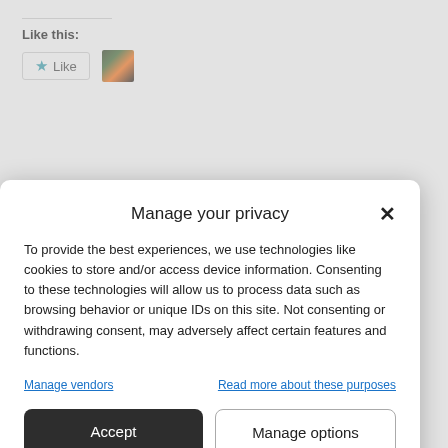Like this:
[Figure (screenshot): Like button with star icon and a small thumbnail image of a lighthouse/fireworks scene]
[Figure (screenshot): DuckDuckGo advertisement banner: 'Search, browse, and email with more privacy. All in One Free App' with DuckDuckGo logo]
Manage your privacy
To provide the best experiences, we use technologies like cookies to store and/or access device information. Consenting to these technologies will allow us to process data such as browsing behavior or unique IDs on this site. Not consenting or withdrawing consent, may adversely affect certain features and functions.
Manage vendors
Read more about these purposes
Accept
Manage options
Cookie Policy
Privacy Statement